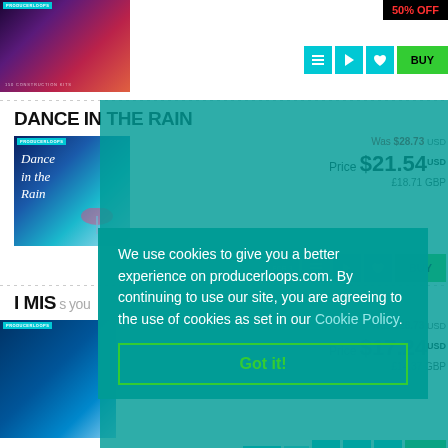[Figure (screenshot): Product thumbnail image for first music product (dark purple/red gradient with figure silhouette)]
50% OFF
[Figure (screenshot): Play/list/heart/buy buttons row for first product]
DANCE IN THE RAIN
[Figure (illustration): Dance in the Rain album art - blue/teal gradient with rain and umbrella imagery, cursive text]
Was $28.73 USD
Price $21.54 USD
£18.71 GBP
I MIS
Was $28.73 USD
Price $17.24 USD
£14.37 GBP
We use cookies to give you a better experience on producerloops.com. By continuing to use our site, you are agreeing to the use of cookies as set in our Cookie Policy.
Got it!